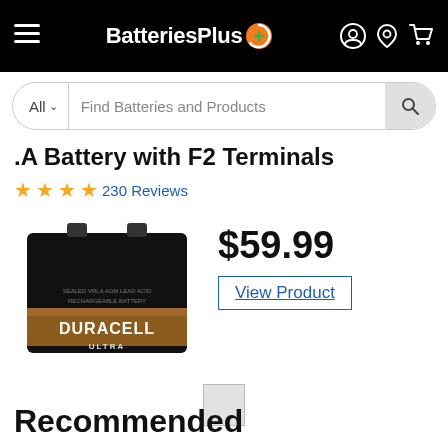BatteriesPlus
All  Find Batteries and Products
.A Battery with F2 Terminals
230 Reviews
[Figure (photo): Duracell Ultra sealed lead-acid battery, black box with copper/gold label]
$59.99
View Product
Recommended